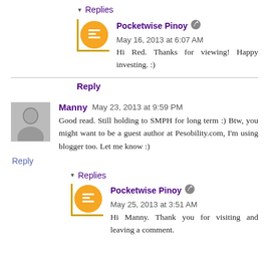▾ Replies
Pocketwise Pinoy [edit] May 16, 2013 at 6:07 AM
Hi Red. Thanks for viewing! Happy investing. :)
Reply
Manny May 23, 2013 at 9:59 PM
Good read. Still holding to SMPH for long term :) Btw, you might want to be a guest author at Pesobility.com, I'm using blogger too. Let me know :)
Reply
▾ Replies
Pocketwise Pinoy [edit] May 25, 2013 at 3:51 AM
Hi Manny. Thank you for visiting and leaving a comment.